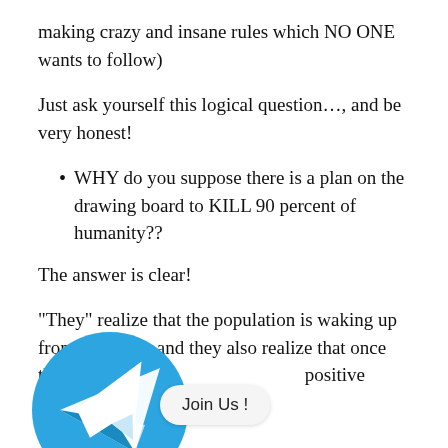making crazy and insane rules which NO ONE wants to follow)
Just ask yourself this logical question…, and be very honest!
WHY do you suppose there is a plan on the drawing board to KILL 90 percent of humanity??
The answer is clear!
“They” realize that the population is waking up from the[…] and they also realize that once that h[…] w[…] positive control of the su[…]nity.
[Figure (logo): Telegram app icon — blue circle with white paper plane arrow pointing right, with a 'Join Us !' speech bubble overlay]